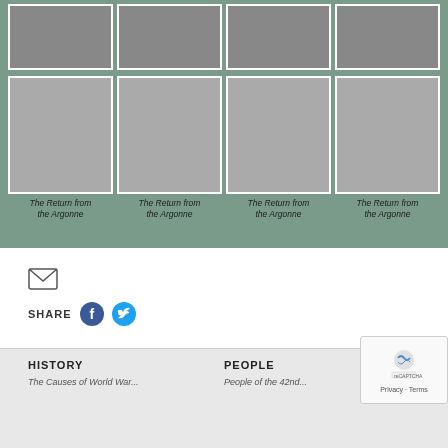[Figure (photo): Top row of 4 photos showing bronze statue being unpacked from wooden crates]
[Figure (photo): Middle row of 4 photos showing 'The Return from the Argonne' bronze sculpture installed outdoors on white stone base]
The Return from the Argonne
The Return from the Argonne
The Return from the Argonne
The Return from the Argonne
[Figure (infographic): Share section with email icon, SHARE label, Facebook and Twitter social icons]
HISTORY | PEOPLE | The Causes of World War... | People of the 42nd...